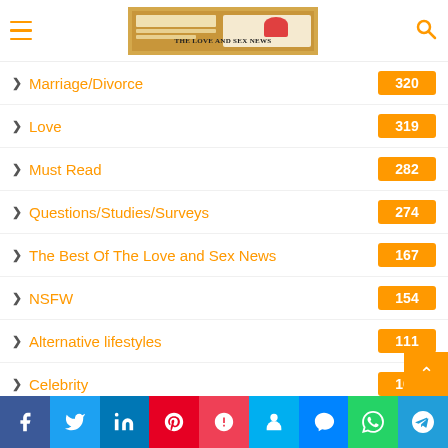The Love and Sex News - site header with logo and navigation
Marriage/Divorce — 320
Love — 319
Must Read — 282
Questions/Studies/Surveys — 274
The Best Of The Love and Sex News — 167
NSFW — 154
Alternative lifestyles — 111
Celebrity — 101
LGBTQ — 97
The Female Perspective — 56
Humor
Social share bar: Facebook, Twitter, LinkedIn, Pinterest, Pocket, Skype, Messenger, WhatsApp, Telegram